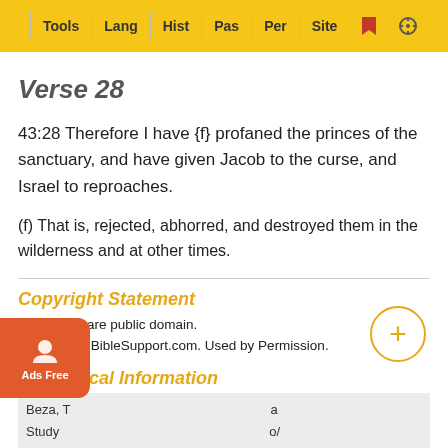Tools | Lang | Hist | Pas | Per | Site
Verse 28
43:28 Therefore I have {f} profaned the princes of the sanctuary, and have given Jacob to the curse, and Israel to reproaches.
(f) That is, rejected, abhorred, and destroyed them in the wilderness and at other times.
Copyright Statement
These files are public domain.
Courtesy of BibleSupport.com. Used by Permission.
Bibliographical Information
Beza, T... a
Study ... o/
isaiah-